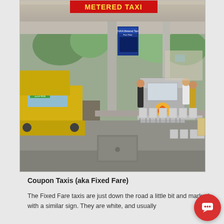[Figure (photo): Airport metered taxi area with yellow taxis, a staffed kiosk booth, waiting seats, and a red 'METERED TAXI' sign overhead. Covered outdoor area at what appears to be Manila airport (NAIA).]
Coupon Taxis (aka Fixed Fare)
The Fixed Fare taxis are just down the road a little bit and marked with a similar sign. They are white, and usually